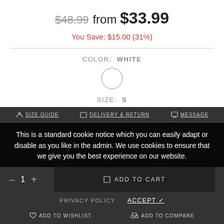$48.99 from $33.99
You Save: $15.00 (31%)
COLOR: WHITE
[Figure (other): White color swatch circle with gray border]
SIZE: S
S  M  L
SIZE GUIDE   DELIVERY & RETURN   MESSAGE
This is a standard cookie notice which you can easily adapt or disable as you like in the admin. We use cookies to ensure that we give you the best experience on our website.
– 1 +   ADD TO CART
PRIVACY POLICY   ACCEPT ✓
♡ ADD TO WISHLIST   ⚖ ADD TO COMPARE